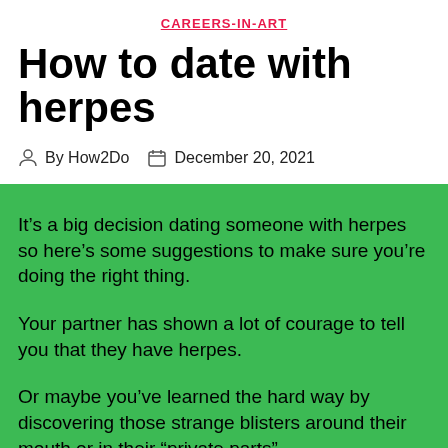CAREERS-IN-ART
How to date with herpes
By How2Do   December 20, 2021
It’s a big decision dating someone with herpes so here’s some suggestions to make sure you’re doing the right thing.
Your partner has shown a lot of courage to tell you that they have herpes.
Or maybe you’ve learned the hard way by discovering those strange blisters around their mouth or in their “private parts”.